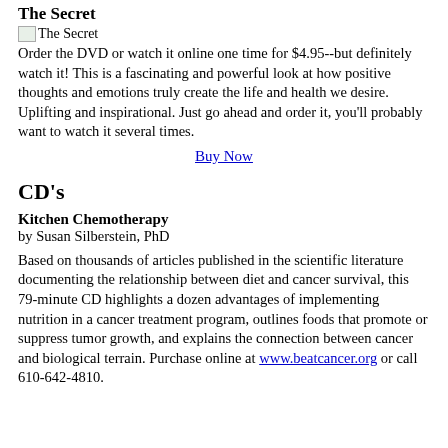The Secret
[Figure (illustration): Small broken image icon labeled 'The Secret']
Order the DVD or watch it online one time for $4.95--but definitely watch it! This is a fascinating and powerful look at how positive thoughts and emotions truly create the life and health we desire. Uplifting and inspirational. Just go ahead and order it, you'll probably want to watch it several times.
Buy Now
CD's
Kitchen Chemotherapy
by Susan Silberstein, PhD
Based on thousands of articles published in the scientific literature documenting the relationship between diet and cancer survival, this 79-minute CD highlights a dozen advantages of implementing nutrition in a cancer treatment program, outlines foods that promote or suppress tumor growth, and explains the connection between cancer and biological terrain. Purchase online at www.beatcancer.org or call 610-642-4810.